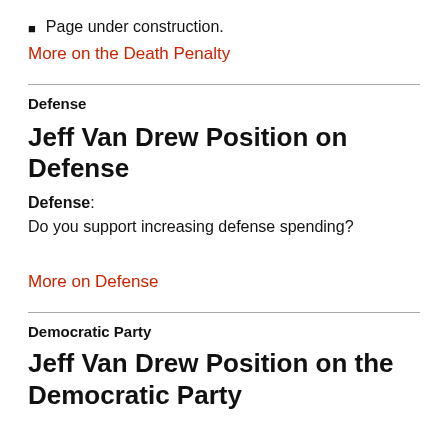Page under construction.
More on the Death Penalty
Defense
Jeff Van Drew Position on Defense
Defense:
Do you support increasing defense spending?
More on Defense
Democratic Party
Jeff Van Drew Position on the Democratic Party